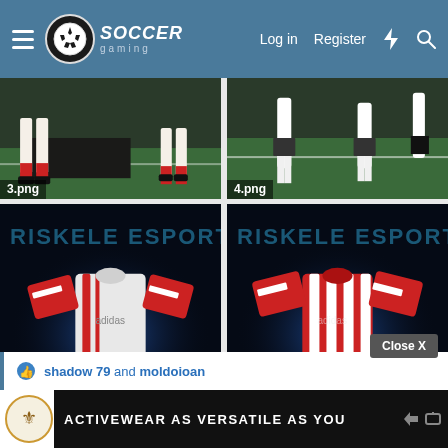Soccer Gaming — Log in | Register
[Figure (screenshot): Soccer game screenshot, lower legs of players on green field — labeled 3.png]
[Figure (screenshot): Soccer game screenshot, players on green field — labeled 4.png]
[Figure (screenshot): Soccer jersey (white with red stripes) on blue background with RISKELE ESPORT text — labeled 5.png]
[Figure (screenshot): Soccer jersey (red and white stripes) on blue background with RISKELE ESPORT text — labeled 6.png]
shadow 79 and moldoioan
ACTIVEWEAR AS VERSATILE AS YOU